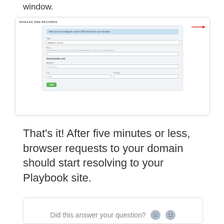window.
[Figure (screenshot): Screenshot of a 'Manage DNS Records' panel showing a form with fields for Type (A - Address record), Host, and Address (0.0.0.0/24), TTL, Priority, and an Add button. A red arrow points to the top-right corner of the panel.]
That's it! After five minutes or less, browser requests to your domain should start resolving to your Playbook site.
Did this answer your question?